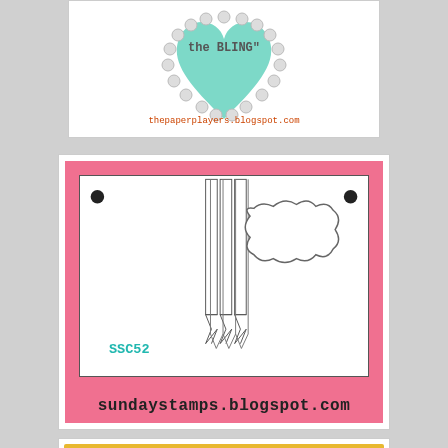[Figure (illustration): Partial view of a craft card with text 'the BLING' and a mint green heart shape with silver pearl border, with URL thepaperplayers.blogspot.com below]
[Figure (illustration): Craft card sketch/template on pink background showing a white card with two brads, three ribbon strips with fishtail ends, a scalloped oval label in the center, and text SSC52 in teal. URL: sundaystamps.blogspot.com]
[Figure (illustration): Partial view of a craft card at the bottom with yellow-green and pink patterned paper sections]